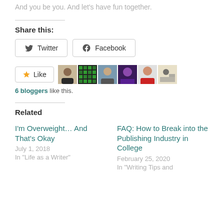And you be you. And let's have fun together.
Share this:
Twitter  Facebook
Like  [avatars]  6 bloggers like this.
Related
I'm Overweight… And That's Okay
July 1, 2018
In "Life as a Writer"
FAQ: How to Break into the Publishing Industry in College
February 25, 2020
In "Writing Tips and